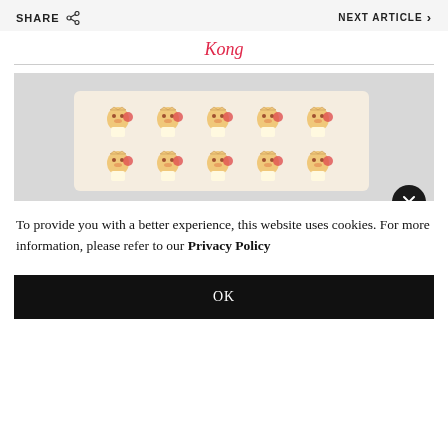SHARE   NEXT ARTICLE >
Kong
[Figure (photo): A light-colored fabric or pouch printed with a repeating pattern of lucky cat (maneki-neko) illustrations arranged in rows, displayed on a light grey background.]
To provide you with a better experience, this website uses cookies. For more information, please refer to our Privacy Policy
OK